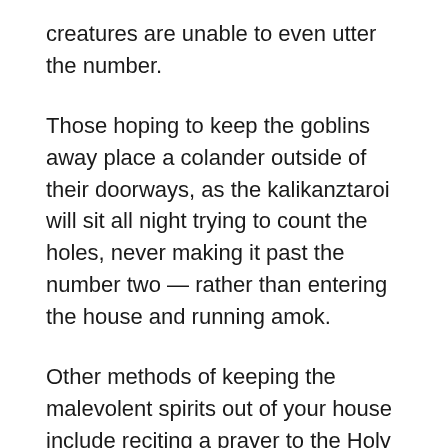creatures are unable to even utter the number.
Those hoping to keep the goblins away place a colander outside of their doorways, as the kalikanztaroi will sit all night trying to count the holes, never making it past the number two — rather than entering the house and running amok.
Other methods of keeping the malevolent spirits out of your house include reciting a prayer to the Holy Trinity, marking your doorway with a cross, or, in Cyprus, throwing out some little sausages and fried dough to appease them.